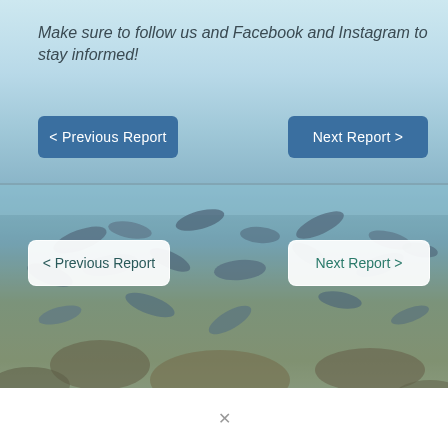Make sure to follow us and Facebook and Instagram to stay informed!
[Figure (photo): Underwater photo of a school of fish swimming over rocky bottom with aquatic vegetation]
< Previous Report
Next Report >
< Previous Report
Next Report >